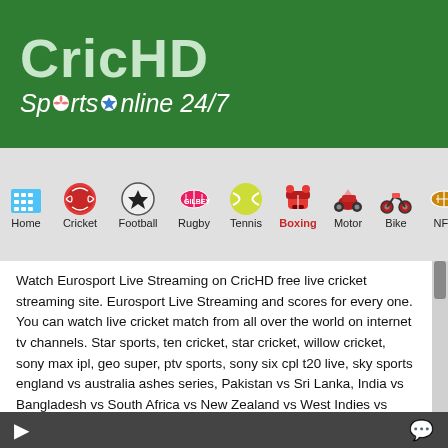CricHD Sports Online 24/7
[Figure (screenshot): Navigation bar with sport category icons: Home, Cricket, Football, Rugby, Tennis, Boxing, Motor, Bike, NFL, WWE]
Watch Eurosport Live Streaming on CricHD free live cricket streaming site. Eurosport Live Streaming and scores for every one. You can watch live cricket match from all over the world on internet tv channels. Star sports, ten cricket, star cricket, willow cricket, sony max ipl, geo super, ptv sports, sony six cpl t20 live, sky sports england vs australia ashes series, Pakistan vs Sri Lanka, India vs Bangladesh vs South Africa vs New Zealand vs West Indies vs Zimbabwe, Champions Trophy CLT20, Indian Premier League ipl, KFC Big bash T20 BBLT20, t20 world cup 2020, cricket world cup. Watch all cricket streaming ball by ball for Eurosport Live Streaming on internet. Free and fast live streaming of Eurosport. Watch live copa america, Barcelona vs Real Madrid. Watch all football matches schedule with live channels where u can watch free live football premier league, english premier league EPL, fifa world cup, football world cup 2022, euro cup, UEFA Europa League live stream, uefa euro qualifying, spanish la liga, uefa champions league, copa america live,england premier league, england champions league,england fa